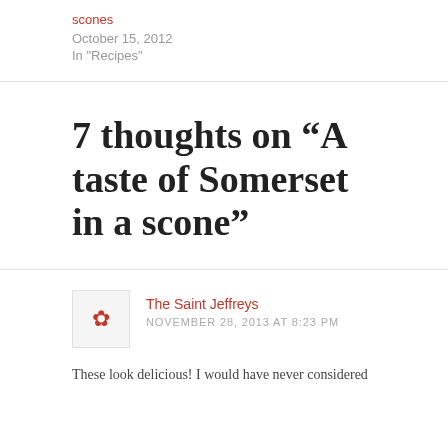scones
October 15, 2012
In "Recipes"
7 thoughts on “A taste of Somerset in a scone”
The Saint Jeffreys
NOVEMBER 28, 2013 AT 8:23 PM
These look delicious! I would have never considered